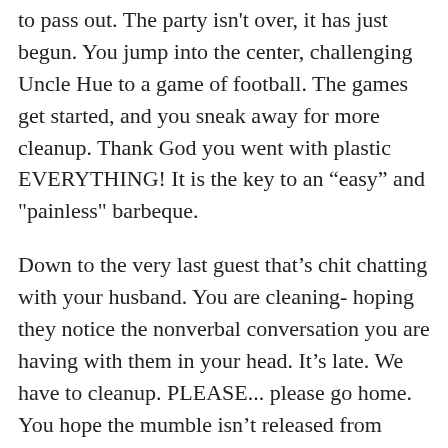to pass out. The party isn't over, it has just begun. You jump into the center, challenging Uncle Hue to a game of football. The games get started, and you sneak away for more cleanup. Thank God you went with plastic EVERYTHING! It is the key to an “easy” and "painless" barbeque.
Down to the very last guest that’s chit chatting with your husband. You are cleaning- hoping they notice the nonverbal conversation you are having with them in your head. It’s late. We have to cleanup. PLEASE... please go home. You hope the mumble isn’t released from behind your teeth as you smile and wave. All the sudden. She inches closer to the door. You silently wish that your husband would stop talking, so the guest leaves. He does. Now to get everything cleaned up. The preparation went so smoothly that it doesn’t seem real. You finally get to indulge in the goodies from the barbeque. How’d you forget to eat? I mean... barbeque prep isn’t for the faint of heart. You lean back in the recliner and shut your eyes- just for a moment.